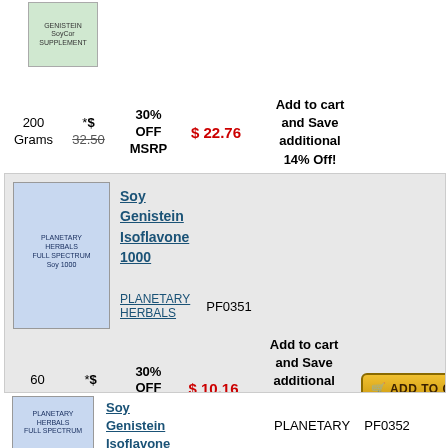[Figure (photo): Product image of a supplement bottle (Genistein SoyCore) at top of page]
200 Grams   *$ 32.50   30% OFF MSRP   $ 22.76   Add to cart and Save additional 14% Off!
[Figure (photo): Product image of Planetary Herbals Soy 1000 supplement bottle]
Soy Genistein Isoflavone 1000
PLANETARY HERBALS   PF0351
60 tabs   *$ 14.50   30% OFF MSRP   $ 10.16   Add to cart and Save additional 14% Off!
[Figure (photo): Product image of Planetary Herbals supplement bottle (Soy Genistein Isoflavone)]
Soy Genistein Isoflavone
PLANETARY   PF0352